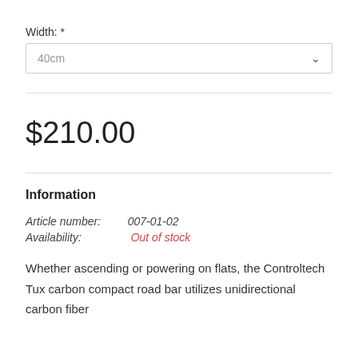Width: *
40cm
$210.00
Information
Article number:   007-01-02
Availability:   Out of stock
Whether ascending or powering on flats, the Controltech Tux carbon compact road bar utilizes unidirectional carbon fiber